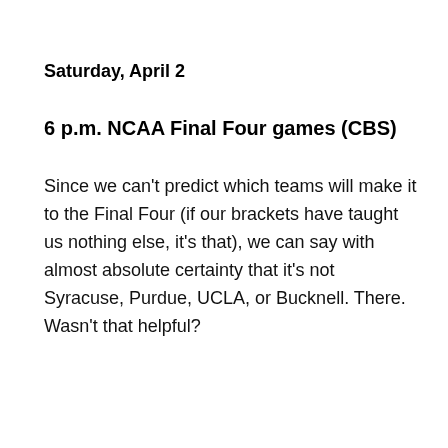Saturday, April 2
6 p.m. NCAA Final Four games (CBS)
Since we can't predict which teams will make it to the Final Four (if our brackets have taught us nothing else, it's that), we can say with almost absolute certainty that it's not Syracuse, Purdue, UCLA, or Bucknell. There. Wasn't that helpful?